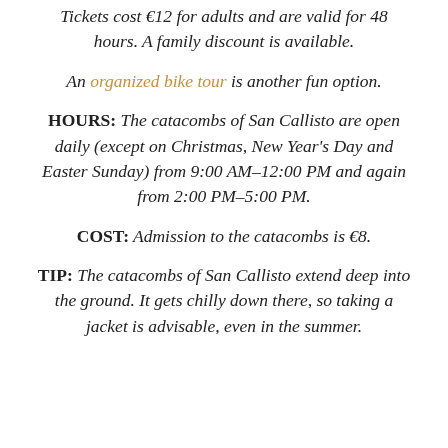Tickets cost €12 for adults and are valid for 48 hours. A family discount is available.
An organized bike tour is another fun option.
HOURS: The catacombs of San Callisto are open daily (except on Christmas, New Year's Day and Easter Sunday) from 9:00 AM–12:00 PM and again from 2:00 PM–5:00 PM.
COST: Admission to the catacombs is €8.
TIP: The catacombs of San Callisto extend deep into the ground. It gets chilly down there, so taking a jacket is advisable, even in the summer.